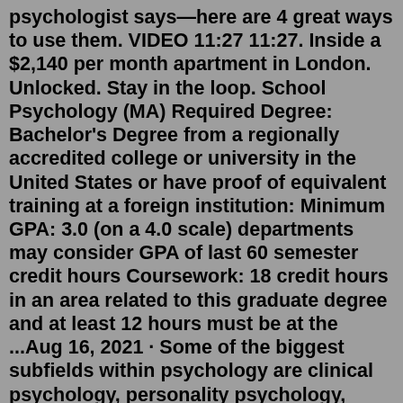psychologist says—here are 4 great ways to use them. VIDEO 11:27 11:27. Inside a $2,140 per month apartment in London. Unlocked. Stay in the loop. School Psychology (MA) Required Degree: Bachelor's Degree from a regionally accredited college or university in the United States or have proof of equivalent training at a foreign institution: Minimum GPA: 3.0 (on a 4.0 scale) departments may consider GPA of last 60 semester credit hours Coursework: 18 credit hours in an area related to this graduate degree and at least 12 hours must be at the ...Aug 16, 2021 · Some of the biggest subfields within psychology are clinical psychology, personality psychology, cognitive psychology, developmental psychology, and social psychology. 6. The type of psychologist may depend upon the type of problem you are facing. If you are experiencing emotional or psychological symptoms, you might need a clinical or ... Jun 30, 2014 · 1) Synaptic Play. Brain synapses are the basis of creativity, in which your brain connects seemingly unrelated dots to form an idea. Neuroscientists...